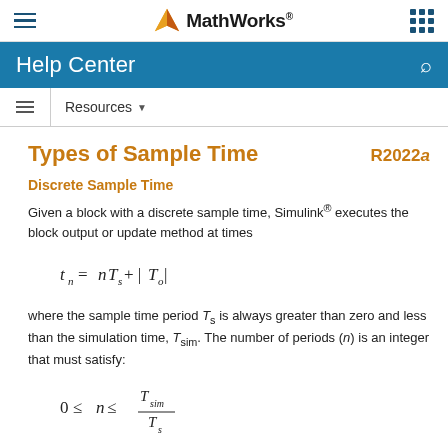MathWorks Help Center
Types of Sample Time
Discrete Sample Time
Given a block with a discrete sample time, Simulink® executes the block output or update method at times
where the sample time period T_s is always greater than zero and less than the simulation time, T_sim. The number of periods (n) is an integer that must satisfy: